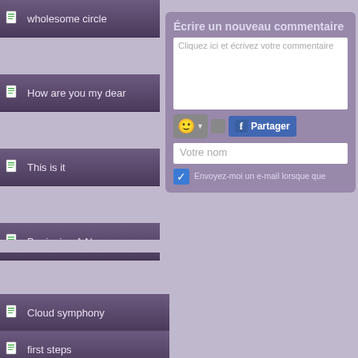wholesome circle
How are you my dear
This is it
Beginning A New
Power of words
Patience
GPIW
insights 2021
Cloud symphony
first steps
Nombre de visites :
0052 9930
Le site est fabriqué avec
www.123website.ch
Écrire un nouveau commentaire
Cliquez ici et écrivez votre commentaire
Partager
Votre nom
Envoyez-moi un e-mail lorsque que